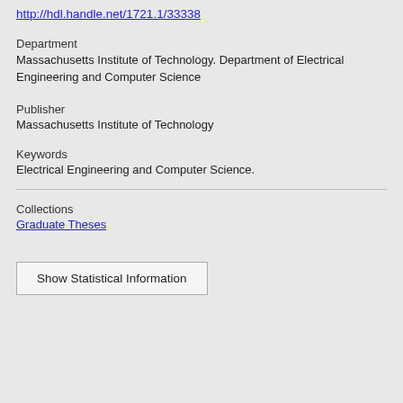http://hdl.handle.net/1721.1/33338
Department
Massachusetts Institute of Technology. Department of Electrical Engineering and Computer Science
Publisher
Massachusetts Institute of Technology
Keywords
Electrical Engineering and Computer Science.
Collections
Graduate Theses
Show Statistical Information